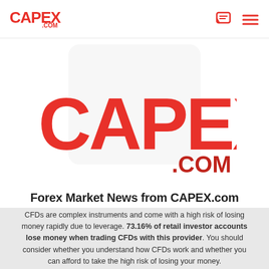[Figure (logo): CAPEX.com small logo in top navigation bar, red color]
[Figure (logo): Large CAPEX.com logo centered in hero area, red color with decorative background shape]
Forex Market News from CAPEX.com
CFDs are complex instruments and come with a high risk of losing money rapidly due to leverage. 73.16% of retail investor accounts lose money when trading CFDs with this provider. You should consider whether you understand how CFDs work and whether you can afford to take the high risk of losing your money.